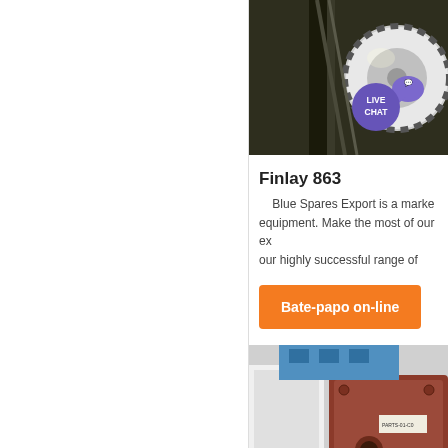[Figure (photo): Industrial machine with large gear/drum mechanism, green-tinted machinery, with a 'LIVE CHAT' badge overlay (purple circle with speech bubble icon)]
Finlay 863
Blue Spares Export is a market… equipment. Make the most of our ex… our highly successful range of
Bate-papo on-line
[Figure (photo): Close-up of industrial equipment panels — blue, white, and rust-brown metal components with bolts and fittings]